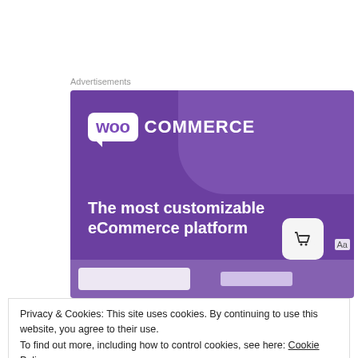Advertisements
[Figure (illustration): WooCommerce advertisement banner with purple background. Shows WooCommerce logo at top left, tagline 'The most customizable eCommerce platform', and a shopping cart icon on the right side.]
Privacy & Cookies: This site uses cookies. By continuing to use this website, you agree to their use. To find out more, including how to control cookies, see here: Cookie Policy
Close and accept
Home